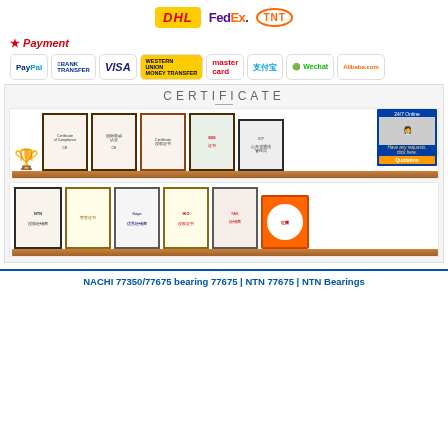[Figure (logo): Shipping carrier logos: DHL (yellow/red), FedEx (purple/orange), TNT (orange circle outline)]
Payment
[Figure (logo): Payment method logos: PayPal, Bank Transfer, VISA, Western Union Money Transfer, MasterCard, Alipay (支付宝), WeChat, Alibaba.com]
[Figure (photo): Certificate section showing two shelves with framed certificates and awards, including a trophy, CE certificates, NTN certificate, Kepo certificate, IKO certificate, and other award plaques. Also shows a 24/7 Online customer service representative.]
NACHI 77350/77675 bearing 77675 | NTN 77675 | NTN Bearings